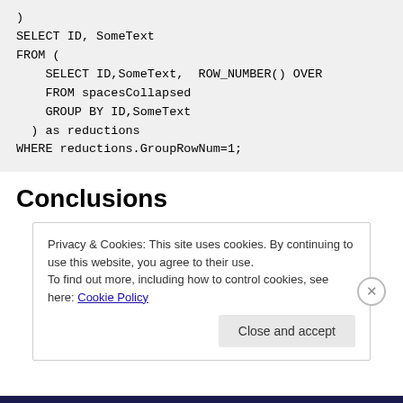)
SELECT ID, SomeText
FROM (
    SELECT ID,SomeText,  ROW_NUMBER() OVER
    FROM spacesCollapsed
    GROUP BY ID,SomeText
  ) as reductions
WHERE reductions.GroupRowNum=1;
Conclusions
Privacy & Cookies: This site uses cookies. By continuing to use this website, you agree to their use.
To find out more, including how to control cookies, see here: Cookie Policy